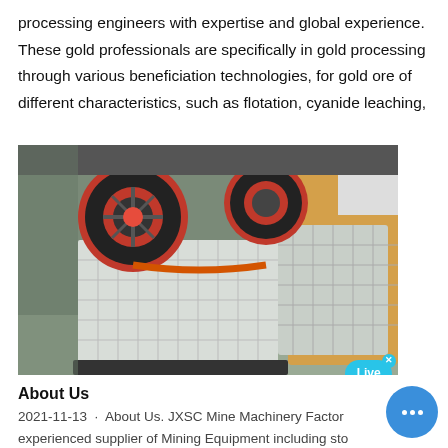processing engineers with expertise and global experience. These gold professionals are specifically in gold processing through various beneficiation technologies, for gold ore of different characteristics, such as flotation, cyanide leaching,
[Figure (photo): Industrial jaw crusher machines in a factory setting, showing large metal crushing equipment with red flywheel and grey body, multiple units visible with Live Chat overlay bubble in top right corner]
About Us
2021-11-13 · About Us. JXSC Mine Machinery Factor experienced supplier of Mining Equipment including sto crusher machine, gravity concentration, magnetic separation,